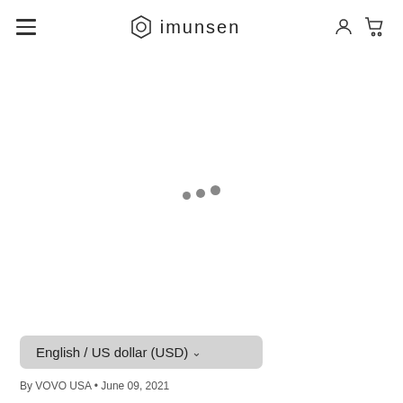imunsen
[Figure (infographic): Animated loading indicator with three dots of increasing size]
English / US dollar (USD)
By VOVO USA • June 09, 2021